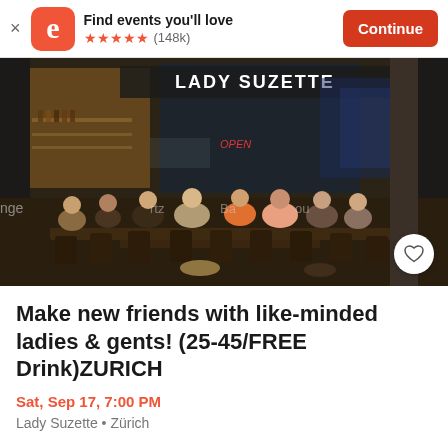Find events you'll love  ★★★★★ (148k)  Continue
[Figure (photo): Group of people seated around outdoor tables at night in front of Lady Suzette restaurant in Zurich]
Make new friends with like-minded ladies & gents! (25-45/FREE Drink)ZURICH
Sat, Sep 17, 7:00 PM
Lady Suzette • Zürich